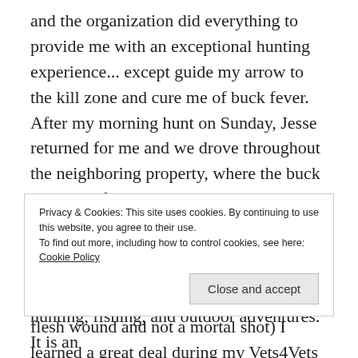and the organization did everything to provide me with an exceptional hunting experience... except guide my arrow to the kill zone and cure me of buck fever. After my morning hunt on Sunday, Jesse returned for me and we drove throughout the neighboring property, where the buck returned after being shot, in the organization's Polaris Ranger to search for the buck in the daylight. Despite having no luck finding my buck (we determined my shot had been merely a flesh wound and not a mortal shot) I learned a great deal during my Vets4Vets weekend, had a great time, and met some truly dedicated and caring people.
Privacy & Cookies: This site uses cookies. By continuing to use this website, you agree to their use.
To find out more, including how to control cookies, see here: Cookie Policy
Close and accept
hunting, fishing, and outdoor adventures. It is an